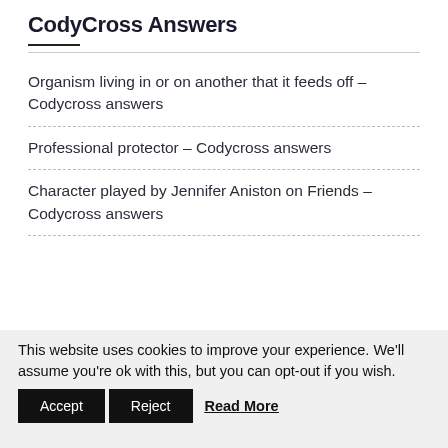CodyCross Answers
Organism living in or on another that it feeds off – Codycross answers
Professional protector – Codycross answers
Character played by Jennifer Aniston on Friends – Codycross answers
This website uses cookies to improve your experience. We'll assume you're ok with this, but you can opt-out if you wish.
Accept  Reject  Read More